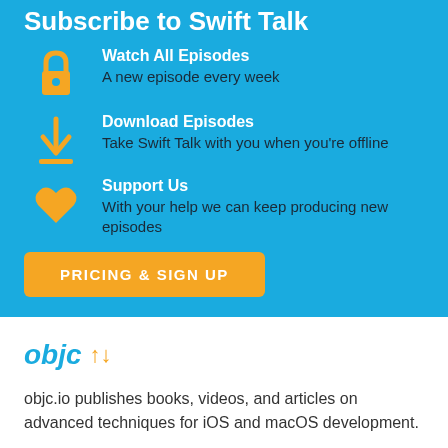Subscribe to Swift Talk
Watch All Episodes — A new episode every week
Download Episodes — Take Swift Talk with you when you're offline
Support Us — With your help we can keep producing new episodes
PRICING & SIGN UP
[Figure (logo): objc.io logo with up and down arrows in orange]
objc.io publishes books, videos, and articles on advanced techniques for iOS and macOS development.